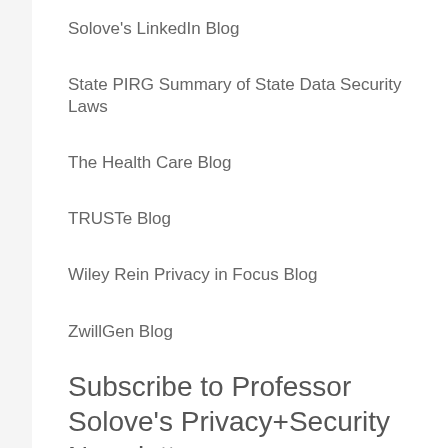Solove's LinkedIn Blog
State PIRG Summary of State Data Security Laws
The Health Care Blog
TRUSTe Blog
Wiley Rein Privacy in Focus Blog
ZwillGen Blog
Subscribe to Professor Solove's Privacy+Security Newsletter
Free newsletter sent 1 to 2 times per month about new writings, events, cases, developments, and